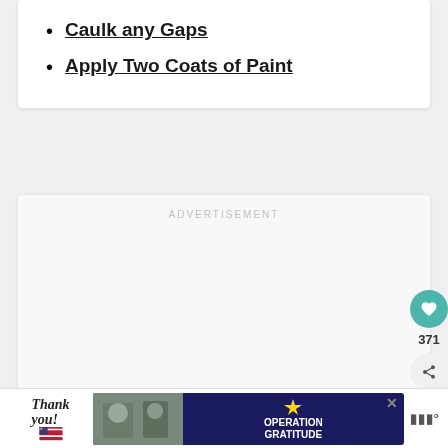Caulk any Gaps
Apply Two Coats of Paint
ADVERTISEMENT
[Figure (infographic): Bottom banner advertisement for Operation Gratitude with 'Thank you!' text and military imagery]
371